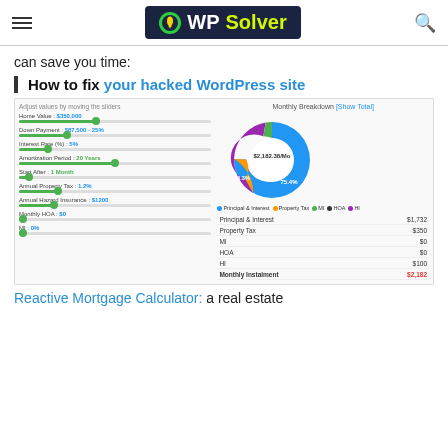WP Solver
can save you time:
How to fix your hacked WordPress site
[Figure (screenshot): Screenshot of a mortgage calculator plugin showing sliders for Home Value ($350,000), Down Payment ($87,500 - 25%), Interest Rate (%) (5%), Amortization Period (20 Years), Start After (1 Month), Annual Property Tax (1.2%), Annual Hazard Insurance ($1200), Monthly HOA ($0), MI (0%), and a donut chart showing Monthly Breakdown with $2,182.38/Mo total, 75.4% blue (Principal & Interest), 16.3% orange (Property Tax), and small purple (HOA) and green (MI) slices. Below: breakdown table with Principal & Interest $1,732, Property Tax $350, MI $0, HOA $0, HI $100, Monthly Instalment $2,182.]
Reactive Mortgage Calculator: a real estate calculator for WordPress that lets you visit